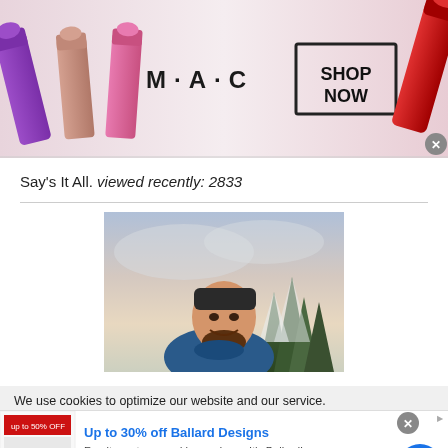[Figure (photo): MAC cosmetics advertisement banner showing colorful lipsticks on left, MAC logo in center, 'SHOP NOW' button in a box, and red lipstick on right]
Say's It All. viewed recently: 2833
[Figure (photo): Outdoor photo of a smiling bearded man wearing a dark headband, with snow-covered pine trees and a cloudy sky in the background]
We use cookies to optimize our website and our service.
[Figure (photo): Advertisement for Ballard Designs - 'Up to 30% off Ballard Designs. Furniture stores and home decor. It's Ballard! ballarddesigns.com']